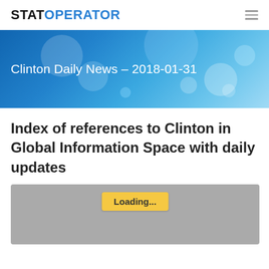STATOPERATOR
[Figure (illustration): Hero banner with bokeh blue background and title 'Clinton Daily News – 2018-01-31' in white text]
Index of references to Clinton in Global Information Space with daily updates
[Figure (screenshot): Gray loading area with yellow 'Loading...' button]